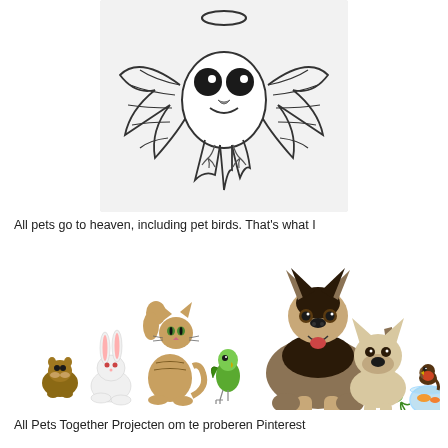[Figure (illustration): Cartoon illustration of an angel bird (budgie/parakeet) with a halo, wings spread wide, smiling face with large dark eyes, drawn in black outline on white/light gray background, printed on what appears to be a white cloth or pillow product]
All pets go to heaven, including pet birds. That's what I
[Figure (photo): Photo of various pets lined up together on white background: hamster, white rabbit, tabby cat reaching up, green parakeet, large German Shepherd dog in center, small frog, French Bulldog puppy, another frog/toad, robin bird sitting on a fishbowl with goldfish]
All Pets Together Projecten om te proberen Pinterest